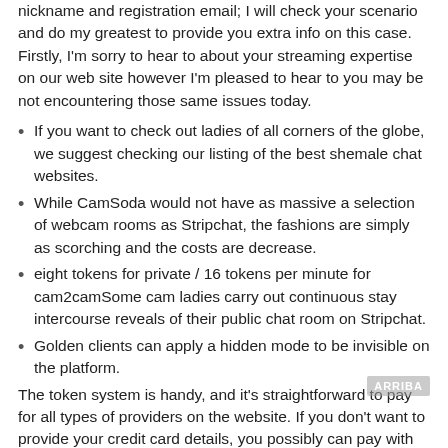nickname and registration email; I will check your scenario and do my greatest to provide you extra info on this case. Firstly, I'm sorry to hear to about your streaming expertise on our web site however I'm pleased to hear to you may be not encountering those same issues today.
If you want to check out ladies of all corners of the globe, we suggest checking our listing of the best shemale chat websites.
While CamSoda would not have as massive a selection of webcam rooms as Stripchat, the fashions are simply as scorching and the costs are decrease.
eight tokens for private / 16 tokens per minute for cam2camSome cam ladies carry out continuous stay intercourse reveals of their public chat room on Stripchat.
Golden clients can apply a hidden mode to be invisible on the platform.
The token system is handy, and it’s straightforward to pay for all types of providers on the website. If you don’t want to provide your credit card details, you possibly can pay with cryptocurrency, PayPal, or a present card. There are a number of